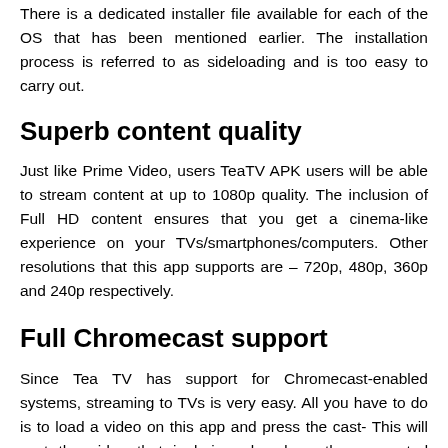There is a dedicated installer file available for each of the OS that has been mentioned earlier. The installation process is referred to as sideloading and is too easy to carry out.
Superb content quality
Just like Prime Video, users TeaTV APK users will be able to stream content at up to 1080p quality. The inclusion of Full HD content ensures that you get a cinema-like experience on your TVs/smartphones/computers. Other resolutions that this app supports are – 720p, 480p, 360p and 240p respectively.
Full Chromecast support
Since Tea TV has support for Chromecast-enabled systems, streaming to TVs is very easy. All you have to do is to load a video on this app and press the cast- This will cast the video that is being played on the connected Chromecast-enabled